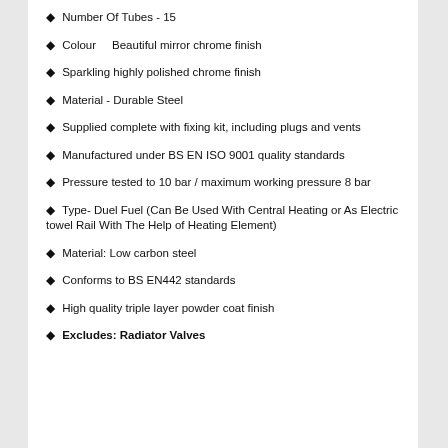Number Of Tubes - 15
Colour    Beautiful mirror chrome finish
Sparkling highly polished chrome finish
Material - Durable Steel
Supplied complete with fixing kit, including plugs and vents
Manufactured under BS EN ISO 9001 quality standards
Pressure tested to 10 bar / maximum working pressure 8 bar
Type- Duel Fuel (Can Be Used With Central Heating or As Electric towel Rail With The Help of Heating Element)
Material: Low carbon steel
Conforms to BS EN442 standards
High quality triple layer powder coat finish
Excludes: Radiator Valves